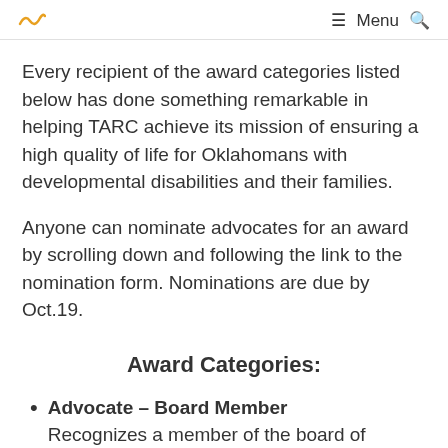Menu
Every recipient of the award categories listed below has done something remarkable in helping TARC achieve its mission of ensuring a high quality of life for Oklahomans with developmental disabilities and their families.
Anyone can nominate advocates for an award by scrolling down and following the link to the nomination form. Nominations are due by Oct.19.
Award Categories:
Advocate – Board Member
Recognizes a member of the board of